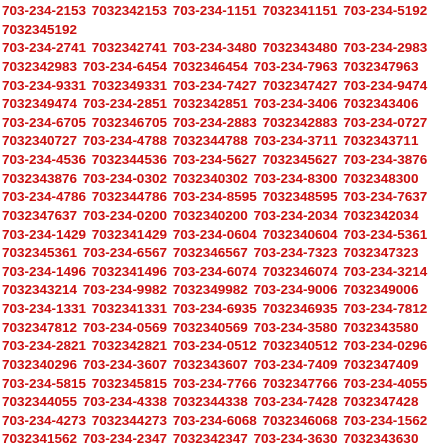703-234-2153 7032342153 703-234-1151 7032341151 703-234-5192 7032345192 703-234-2741 7032342741 703-234-3480 7032343480 703-234-2983 7032342983 703-234-6454 7032346454 703-234-7963 7032347963 703-234-9331 7032349331 703-234-7427 7032347427 703-234-9474 7032349474 703-234-2851 7032342851 703-234-3406 7032343406 703-234-6705 7032346705 703-234-2883 7032342883 703-234-0727 7032340727 703-234-4788 7032344788 703-234-3711 7032343711 703-234-4536 7032344536 703-234-5627 7032345627 703-234-3876 7032343876 703-234-0302 7032340302 703-234-8300 7032348300 703-234-4786 7032344786 703-234-8595 7032348595 703-234-7637 7032347637 703-234-0200 7032340200 703-234-2034 7032342034 703-234-1429 7032341429 703-234-0604 7032340604 703-234-5361 7032345361 703-234-6567 7032346567 703-234-7323 7032347323 703-234-1496 7032341496 703-234-6074 7032346074 703-234-3214 7032343214 703-234-9982 7032349982 703-234-9006 7032349006 703-234-1331 7032341331 703-234-6935 7032346935 703-234-7812 7032347812 703-234-0569 7032340569 703-234-3580 7032343580 703-234-2821 7032342821 703-234-0512 7032340512 703-234-0296 7032340296 703-234-3607 7032343607 703-234-7409 7032347409 703-234-5815 7032345815 703-234-7766 7032347766 703-234-4055 7032344055 703-234-4338 7032344338 703-234-7428 7032347428 703-234-4273 7032344273 703-234-6068 7032346068 703-234-1562 7032341562 703-234-2347 7032342347 703-234-3630 7032343630 703-234-0682 7032340682 703-234-0368 7032340368 703-234-5426 7032345426 703-234-7002 7032347002 703-234-5519 7032345519